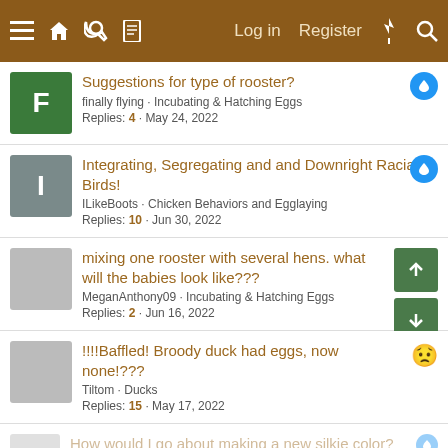Log in  Register
Suggestions for type of rooster? | finally flying · Incubating & Hatching Eggs | Replies: 4 · May 24, 2022
Integrating, Segregating and and Downright Racial Birds! | ILikeBoots · Chicken Behaviors and Egglaying | Replies: 10 · Jun 30, 2022
mixing one rooster with several hens. what will the babies look like??? | MeganAnthony09 · Incubating & Hatching Eggs | Replies: 2 · Jun 16, 2022
!!!!Baffled! Broody duck had eggs, now none!??? | Tiltom · Ducks | Replies: 15 · May 17, 2022
How would I go about making a new silkie color?